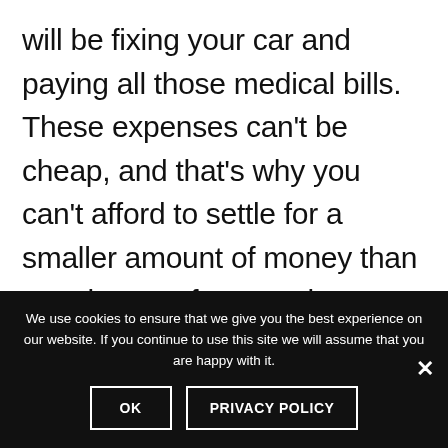will be fixing your car and paying all those medical bills. These expenses can't be cheap, and that's why you can't afford to settle for a smaller amount of money than you deserve for your damages while filing for compensation. Hiring a lawyer can guarantee you getting the best possible deal from the insurance company that will cover all the damages as well as pain and
We use cookies to ensure that we give you the best experience on our website. If you continue to use this site we will assume that you are happy with it.
OK    PRIVACY POLICY